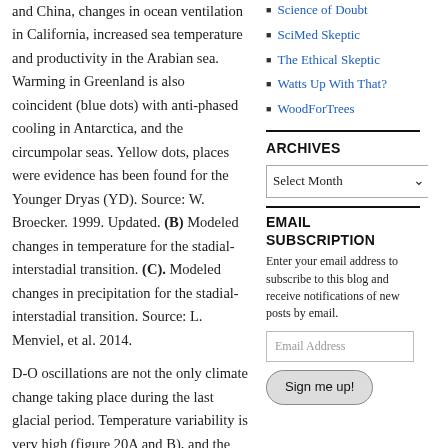and China, changes in ocean ventilation in California, increased sea temperature and productivity in the Arabian sea. Warming in Greenland is also coincident (blue dots) with anti-phased cooling in Antarctica, and the circumpolar seas. Yellow dots, places were evidence has been found for the Younger Dryas (YD). Source: W. Broecker. 1999. Updated. (B) Modeled changes in temperature for the stadial-interstadial transition. (C). Modeled changes in precipitation for the stadial-interstadial transition. Source: L. Menviel, et al. 2014.
D-O oscillations are not the only climate change taking place during the last glacial period. Temperature variability is very high (figure 20A and B), and the changes have different shapes, durations and spacing. They are sometimes separated by other intense
Science of Doubt
SciMed Skeptic
The Ethical Skeptic
Watts Up With That?
WoodForTrees
ARCHIVES
Select Month
EMAIL SUBSCRIPTION
Enter your email address to subscribe to this blog and receive notifications of new posts by email.
Email Address
Sign me up!